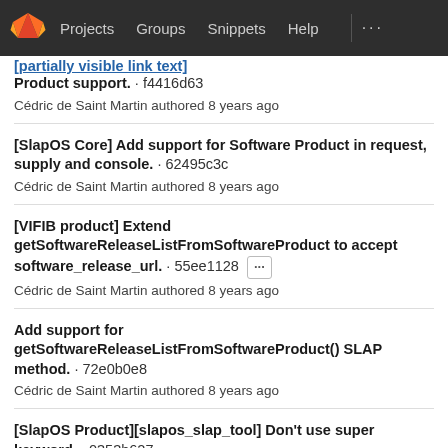Projects  Groups  Snippets  Help
[partial link text cut off] Product support. · f4416d63
Cédric de Saint Martin authored 8 years ago
[SlapOS Core] Add support for Software Product in request, supply and console. · 62495c3c
Cédric de Saint Martin authored 8 years ago
[VIFIB product] Extend getSoftwareReleaseListFromSoftwareProduct to accept software_release_url. · 55ee1128
Cédric de Saint Martin authored 8 years ago
Add support for getSoftwareReleaseListFromSoftwareProduct() SLAP method. · 72e0b0e8
Cédric de Saint Martin authored 8 years ago
[SlapOS Product][slapos_slap_tool] Don't use super keyword. · 0353b627